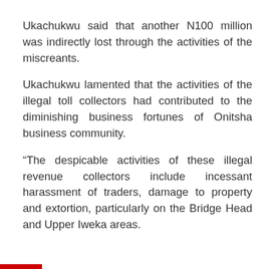Ukachukwu said that another N100 million was indirectly lost through the activities of the miscreants.
Ukachukwu lamented that the activities of the illegal toll collectors had contributed to the diminishing business fortunes of Onitsha business community.
“The despicable activities of these illegal revenue collectors include incessant harassment of traders, damage to property and extortion, particularly on the Bridge Head and Upper Iweka areas.